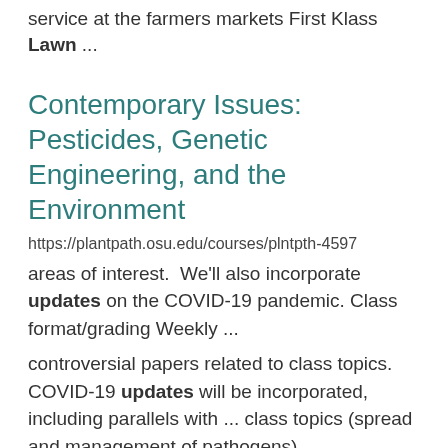service at the farmers markets First Klass Lawn ...
Contemporary Issues: Pesticides, Genetic Engineering, and the Environment
https://plantpath.osu.edu/courses/plntpth-4597
areas of interest.  We'll also incorporate updates on the COVID-19 pandemic. Class format/grading Weekly ...
controversial papers related to class topics. COVID-19 updates will be incorporated, including parallels with ... class topics (spread and management of pathogens)